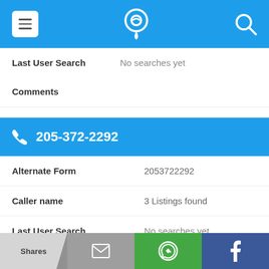App header bar with menu, phone locator icon, and search icon
Last User Search | No searches yet
Comments
205-372-2292
| Field | Value |
| --- | --- |
| Alternate Form | 2053722292 |
| Caller name | 3 Listings found |
| Last User Search | No searches yet |
| Comments |  |
Shares | [email icon] | [WhatsApp icon] | [Facebook icon]